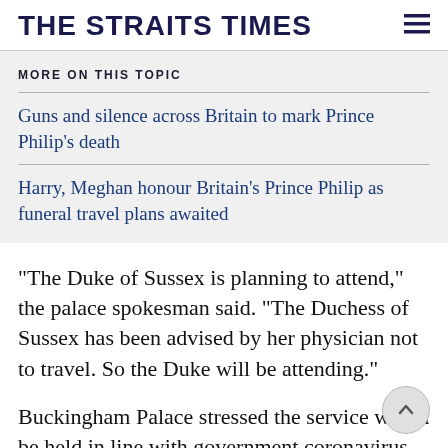THE STRAITS TIMES
MORE ON THIS TOPIC
Guns and silence across Britain to mark Prince Philip's death
Harry, Meghan honour Britain's Prince Philip as funeral travel plans awaited
"The Duke of Sussex is planning to attend," the palace spokesman said. "The Duchess of Sussex has been advised by her physician not to travel. So the Duke will be attending."
Buckingham Palace stressed the service would be held in line with government coronavirus